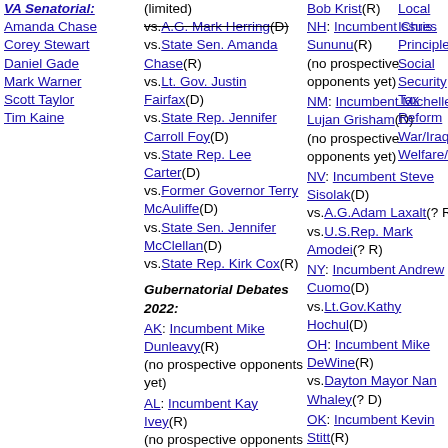VA Senatorial: Amanda Chase, Corey Stewart, Daniel Gade, Mark Warner, Scott Taylor, Tim Kaine
vs.A.G. Mark Herring(D) vs.State Sen. Amanda Chase(R) vs.Lt. Gov. Justin Fairfax(D) vs.State Rep. Jennifer Carroll Foy(D) vs.State Rep. Lee Carter(D) vs.Former Governor Terry McAuliffe(D) vs.State Sen. Jennifer McClellan(D) vs.State Rep. Kirk Cox(R)
Gubernatorial Debates 2022:
AK: Incumbent Mike Dunleavy(R) (no prospective opponents yet)
AL: Incumbent Kay Ivey(R) (no prospective opponents yet)
AR: Incumbent Asa
NH: Incumbent Chris Sununu(R) (no prospective opponents yet)
NM: Incumbent Michelle Lujan Grisham(D) (no prospective opponents yet)
NV: Incumbent Steve Sisolak(D) vs.A.G.Adam Laxalt(? R) vs.U.S.Rep. Mark Amodei(? R)
NY: Incumbent Andrew Cuomo(D) vs.Lt.Gov.Kathy Hochul(D)
OH: Incumbent Mike DeWine(R) vs.Dayton Mayor Nan Whaley(? D)
OK: Incumbent Kevin Stitt(R) vs.State Sen. Ervin Yen(R)
OR: Incumbent
Local Issues, Principles/Values, Social Security, Tax Reform, War/Iraq/Mideast, Welfare/Poverty